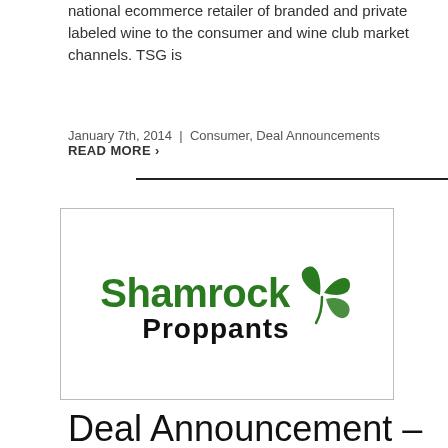national ecommerce retailer of branded and private labeled wine to the consumer and wine club market channels. TSG is
January 7th, 2014 | Consumer, Deal Announcements
READ MORE ›
[Figure (logo): Shamrock Proppants logo with stylized green shamrock/clover graphic and bold text]
Deal Announcement – Mid America Brick is Acquired